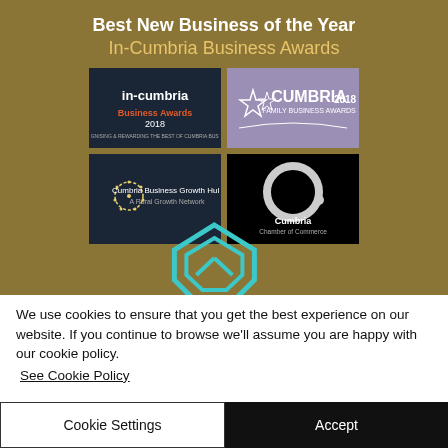[Figure (infographic): Gold background award banner showing 'Best New Business of the Year - In-Cumbria Business Awards' with four sponsor logos: In-Cumbria Business Awards 2018 (dark blue), Cumbria Family Business Awards 2018 (purple), Cumbria Business Growth Hub (dark blue), Cumbria Chamber of Commerce (black with circular logo), and a teal house/building logo at the bottom.]
We use cookies to ensure that you get the best experience on our website. If you continue to browse we'll assume you are happy with our cookie policy.
See Cookie Policy
Cookie Settings
Accept